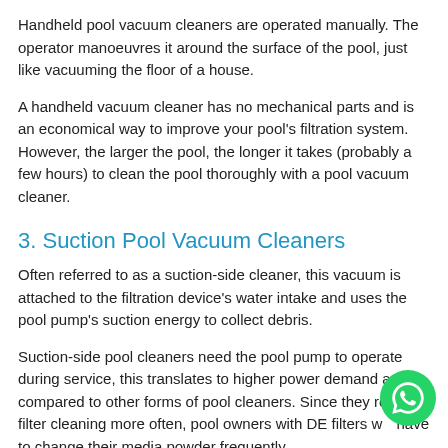Handheld pool vacuum cleaners are operated manually. The operator manoeuvres it around the surface of the pool, just like vacuuming the floor of a house.
A handheld vacuum cleaner has no mechanical parts and is an economical way to improve your pool's filtration system. However, the larger the pool, the longer it takes (probably a few hours) to clean the pool thoroughly with a pool vacuum cleaner.
3. Suction Pool Vacuum Cleaners
Often referred to as a suction-side cleaner, this vacuum is attached to the filtration device's water intake and uses the pool pump's suction energy to collect debris.
Suction-side pool cleaners need the pool pump to operate during service, this translates to higher power demand as compared to other forms of pool cleaners. Since they require filter cleaning more often, pool owners with DE filters will have to change their media powder frequently.